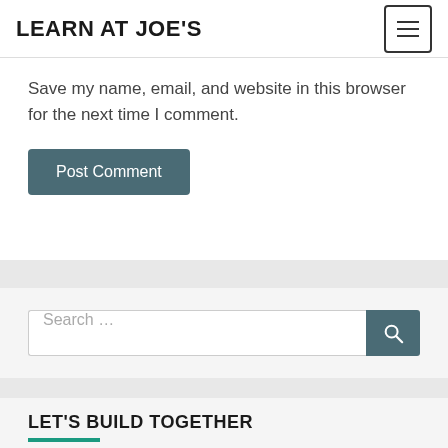LEARN AT JOE'S
Save my name, email, and website in this browser for the next time I comment.
Post Comment
Search …
LET'S BUILD TOGETHER
JoeIABs is your project platform prototype partner